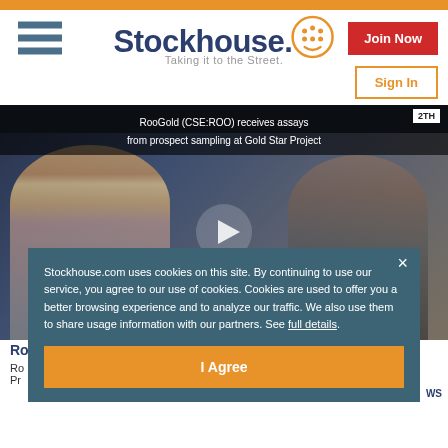[Figure (screenshot): Stockhouse website header with logo, hamburger menu, Join Now button, Sign In button, and embedded video player showing two people (a blonde woman and a man with glasses) with overlay text 'RooGold (CSE:ROO) receives assays from prospect sampling at Gold Star Project'. A cookie consent overlay is displayed with text and I Agree button.]
Stockhouse.com uses cookies on this site. By continuing to use our service, you agree to our use of cookies. Cookies are used to offer you a better browsing experience and to analyze our traffic. We also use them to share usage information with our partners. See full details.
I Agree